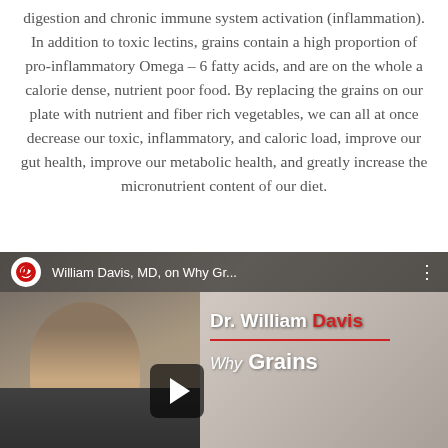digestion and chronic immune system activation (inflammation). In addition to toxic lectins, grains contain a high proportion of pro-inflammatory Omega – 6 fatty acids, and are on the whole a calorie dense, nutrient poor food. By replacing the grains on our plate with nutrient and fiber rich vegetables, we can all at once decrease our toxic, inflammatory, and caloric load, improve our gut health, improve our metabolic health, and greatly increase the micronutrient content of our diet.
[Figure (screenshot): YouTube video thumbnail showing Dr. William Davis speaking, with a red spiral channel logo and title 'William William Davis, MD, on Why Gr...' in top bar, overlay text 'Dr. William Davis' in white and red, 'Why Grains' below, and a YouTube play button.]